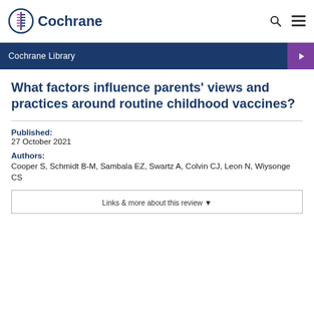Cochrane
Cochrane Library
What factors influence parents' views and practices around routine childhood vaccines?
Published:
27 October 2021
Authors:
Cooper S, Schmidt B-M, Sambala EZ, Swartz A, Colvin CJ, Leon N, Wiysonge CS
Links & more about this review